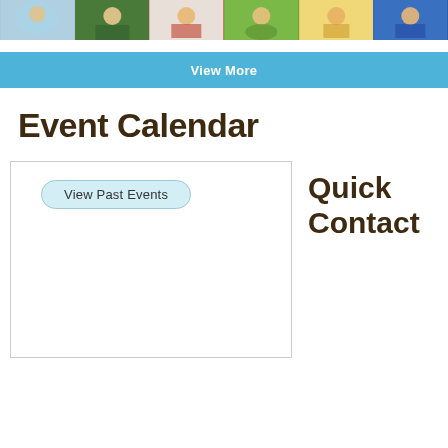[Figure (photo): Strip of six children's photos at the top of the page]
View More
Event Calendar
View Past Events
Quick Contact